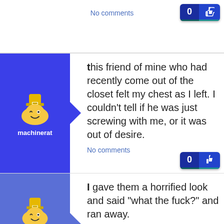No comments
[Figure (other): Like button showing 0 count and thumbs up icon]
[Figure (illustration): Blue avatar block with winking smiley face character wearing a hat, username machinerat]
this friend of mine who had recently come out of the closet felt my chest as I left. I couldn't tell if he was just screwing with me, or it was out of desire.
No comments
[Figure (other): Like button showing 0 count and thumbs up icon]
[Figure (illustration): Light blue avatar block with winking smiley face character wearing a hat, username -Freedom Issues- Minnesota nice]
I gave them a horrified look and said "what the fuck?" and ran away.
No comments
[Figure (other): Like button showing 0 count and thumbs up icon]